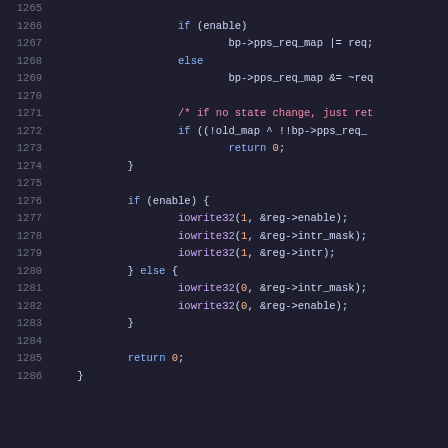Source code snippet, lines 1265-1286, showing C code with if/else logic for enable/disable pps_req_map and iowrite32 register operations.